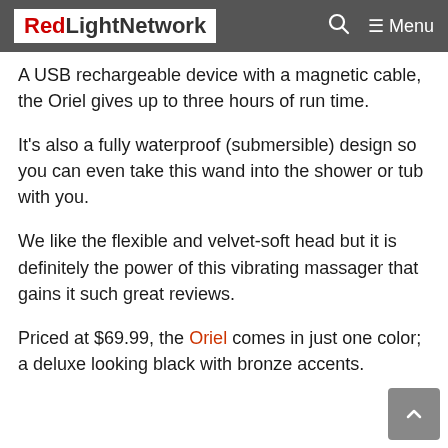RedLightNetwork — Menu
A USB rechargeable device with a magnetic cable, the Oriel gives up to three hours of run time.
It's also a fully waterproof (submersible) design so you can even take this wand into the shower or tub with you.
We like the flexible and velvet-soft head but it is definitely the power of this vibrating massager that gains it such great reviews.
Priced at $69.99, the Oriel comes in just one color; a deluxe looking black with bronze accents.